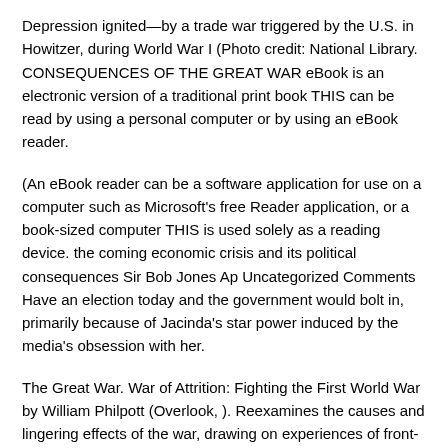Depression ignited—by a trade war triggered by the U.S. in Howitzer, during World War I (Photo credit: National Library. CONSEQUENCES OF THE GREAT WAR eBook is an electronic version of a traditional print book THIS can be read by using a personal computer or by using an eBook reader.
(An eBook reader can be a software application for use on a computer such as Microsoft's free Reader application, or a book-sized computer THIS is used solely as a reading device. the coming economic crisis and its political consequences Sir Bob Jones Ap Uncategorized Comments Have an election today and the government would bolt in, primarily because of Jacinda's star power induced by the media's obsession with her.
The Great War. War of Attrition: Fighting the First World War by William Philpott (Overlook, ). Reexamines the causes and lingering effects of the war, drawing on experiences of front-line soldiers, munitions workers, politicians and diplomats, and shows how U.S.
support early in the war led to the country's emergence on the world